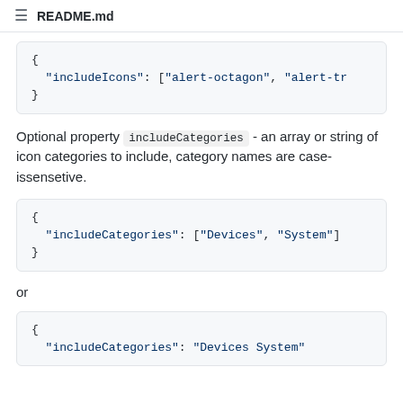README.md
{
  "includeIcons": ["alert-octagon", "alert-tr
}
Optional property includeCategories - an array or string of icon categories to include, category names are case-issensetive.
{
  "includeCategories": ["Devices", "System"]
}
or
{
  "includeCategories": "Devices System"